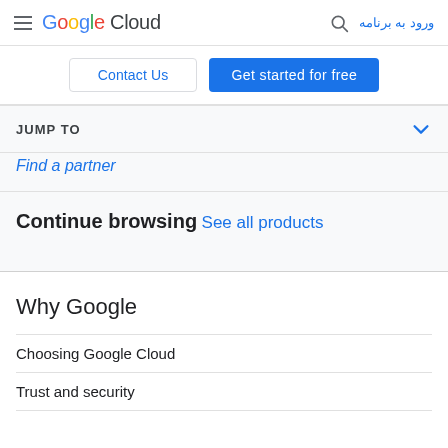Google Cloud — ورود به برنامه
Contact Us
Get started for free
JUMP TO
Find a partner
Continue browsing
See all products
Why Google
Choosing Google Cloud
Trust and security